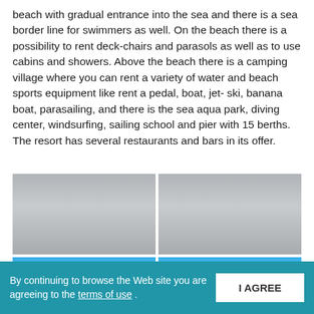beach with gradual entrance into the sea and there is a sea border line for swimmers as well. On the beach there is a possibility to rent deck-chairs and parasols as well as to use cabins and showers. Above the beach there is a camping village where you can rent a variety of water and beach sports equipment like rent a pedal, boat, jet- ski, banana boat, parasailing, and there is the sea aqua park, diving center, windsurfing, sailing school and pier with 15 berths. The resort has several restaurants and bars in its offer.
[Figure (photo): Gray/overcast sky photo placeholder (top-left)]
[Figure (photo): Gray/overcast sky photo placeholder (top-right)]
[Figure (photo): Blue sky with white clouds (bottom-left)]
[Figure (photo): Blue sky with white clouds (bottom-right)]
By continuing to browse the Web site you are agreeing to the terms of use .